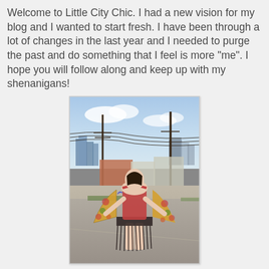Welcome to Little City Chic. I had a new vision for my blog and I wanted to start fresh. I have been through a lot of changes in the last year and I needed to purge the past and do something that I feel is more "me". I hope you will follow along and keep up with my shenanigans!
[Figure (photo): A person standing on a street with their back to the camera, wearing a red backless top and holding out a colorful floral kimono/wrap with fringe trim. City skyline and utility poles visible in background.]